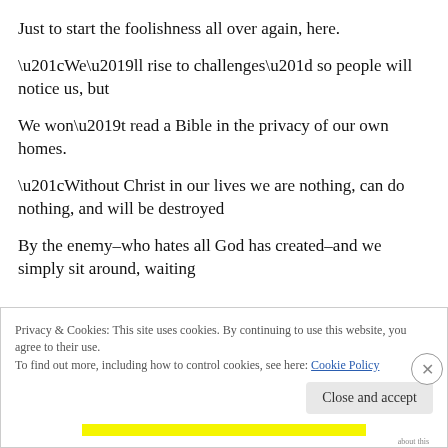Just to start the foolishness all over again, here.
“We’ll rise to challenges” so people will notice us, but
We won’t read a Bible in the privacy of our own homes.
“Without Christ in our lives we are nothing, can do nothing, and will be destroyed
By the enemy–who hates all God has created–and we simply sit around, waiting
Privacy & Cookies: This site uses cookies. By continuing to use this website, you agree to their use.
To find out more, including how to control cookies, see here: Cookie Policy